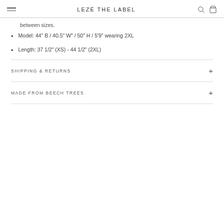LEZÉ THE LABEL
between sizes.
Model: 44″ B / 40.5″ W″ / 50″ H / 5′9″ wearing 2XL
Length: 37 1/2" (XS) - 44 1/2" (2XL)
SHIPPING & RETURNS
MADE FROM BEECH TREES